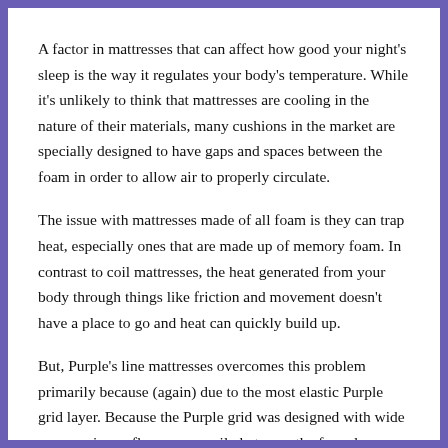A factor in mattresses that can affect how good your night's sleep is the way it regulates your body's temperature. While it's unlikely to think that mattresses are cooling in the nature of their materials, many cushions in the market are specially designed to have gaps and spaces between the foam in order to allow air to properly circulate.
The issue with mattresses made of all foam is they can trap heat, especially ones that are made up of memory foam. In contrast to coil mattresses, the heat generated from your body through things like friction and movement doesn't have a place to go and heat can quickly build up.
But, Purple's line mattresses overcomes this problem primarily because (again) due to the most elastic Purple grid layer. Because the Purple grid was designed with wide spaces, air can flow more easily between the foam layers. This